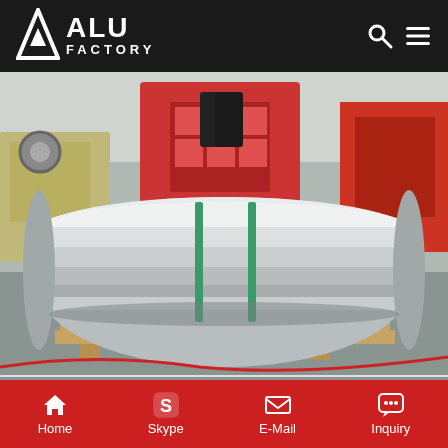ALU FACTORY
[Figure (photo): Large aluminum coil roll on wooden pallet inside an industrial factory; heavy machinery and forklifts visible in the background.]
Stucco Embossed Aluminium Sheet - xienuoaluminum....
Home  Skype  E-Mail  Inquiry